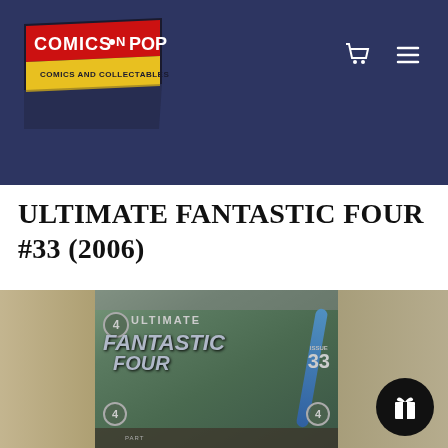[Figure (logo): Comics N Pop Comics and Collectables logo — red and yellow text on a dark angled banner]
ULTIMATE FANTASTIC FOUR #33 (2006)
[Figure (photo): Product photo of Ultimate Fantastic Four issue #33 comic book cover showing the title text and issue number 33, displayed in a comic shop setting]